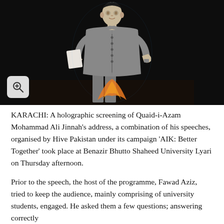[Figure (photo): A holographic projection of Quaid-i-Azam Mohammad Ali Jinnah dressed in a gray sherwani, holding papers, displayed against a dark background. A magnify/search icon button is visible in the lower-left corner of the image.]
KARACHI: A holographic screening of Quaid-i-Azam Mohammad Ali Jinnah’s address, a combination of his speeches, organised by Hive Pakistan under its campaign ‘AIK: Better Together’ took place at Benazir Bhutto Shaheed University Lyari on Thursday afternoon.
Prior to the speech, the host of the programme, Fawad Aziz, tried to keep the audience, mainly comprising of university students, engaged. He asked them a few questions; answering correctly